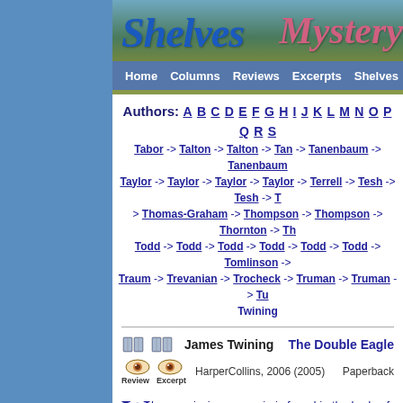[Figure (screenshot): Website header banner with 'Shelves' logo in blue italic script and 'Mystery' in pink script, over a nature/tree background photo]
Home  Columns  Reviews  Excerpts  Shelves  T
Authors: A B C D E F G H I J K L M N O P Q R S
Tabor -> Talton -> Talton -> Tan -> Tanenbaum -> Tanenbaum
Taylor -> Taylor -> Taylor -> Taylor -> Terrell -> Tesh -> Tesh -> T
> Thomas-Graham -> Thompson -> Thompson -> Thornton -> Th
Todd -> Todd -> Todd -> Todd -> Todd -> Todd -> Tomlinson ->
Traum -> Trevanian -> Trocheck -> Truman -> Truman -> Tu
Twining
James Twining    The Double Eagle
HarperCollins, 2006 (2005)    Paperback
When a missing rare coin is found in the body of a mutila agent and a jewel thief must work together to discover the
James Twining    The Geneva Decep